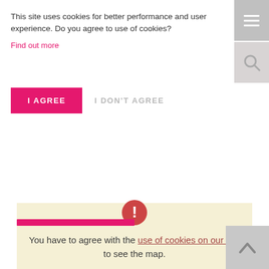This site uses cookies for better performance and user experience. Do you agree to use of cookies?
Find out more
I AGREE
I DON'T AGREE
[Figure (infographic): Alert icon: red/pink circle with white exclamation mark]
You have to agree with the use of cookies on our site to see the map.
[Figure (other): Pink horizontal bar element]
[Figure (other): Back to top button, grey square with upward chevron]